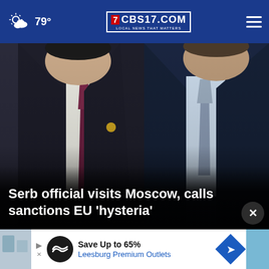79° CBS17.COM LOCAL NEWS THAT MATTERS
[Figure (photo): Two men in dark suits shaking hands or standing together. Left man wears a dark suit with purple tie, right man wears navy suit with light blue tie. News photo related to Serbian official visiting Moscow.]
Serb official visits Moscow, calls sanctions EU 'hysteria'
[Figure (infographic): Advertisement banner: Save Up to 65% Leesburg Premium Outlets, with circular logo and navigation arrow icon]